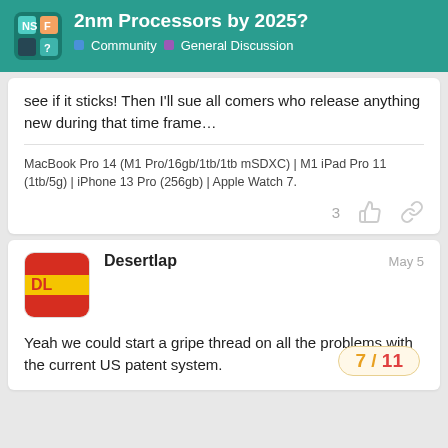2nm Processors by 2025? | Community > General Discussion
see if it sticks! Then I'll sue all comers who release anything new during that time frame…
MacBook Pro 14 (M1 Pro/16gb/1tb/1tb mSDXC) | M1 iPad Pro 11 (1tb/5g) | iPhone 13 Pro (256gb) | Apple Watch 7.
Desertlap  May 5
Yeah we could start a gripe thread on all the problems with the current US patent system.